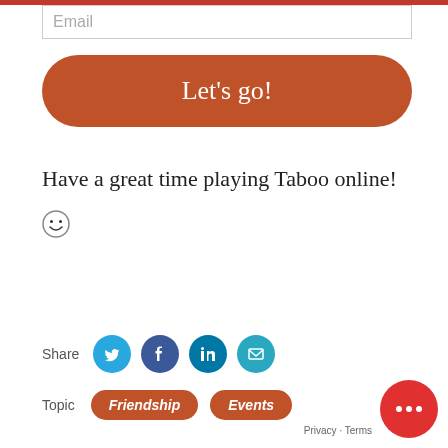Email
[Figure (other): Orange rounded button labeled 'Let's go!']
Have a great time playing Taboo online!
[Figure (other): Grinning emoji face 😁]
Share
[Figure (other): Social share icons: Twitter, Facebook, LinkedIn, Email]
Topic
[Figure (other): Topic tags: Friendship, Events]
[Figure (other): Red chat bubble button with ellipsis]
Privacy · Terms